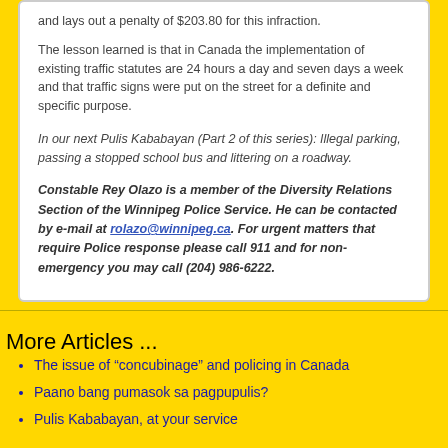and lays out a penalty of $203.80 for this infraction.
The lesson learned is that in Canada the implementation of existing traffic statutes are 24 hours a day and seven days a week and that traffic signs were put on the street for a definite and specific purpose.
In our next Pulis Kababayan (Part 2 of this series): Illegal parking, passing a stopped school bus and littering on a roadway.
Constable Rey Olazo is a member of the Diversity Relations Section of the Winnipeg Police Service. He can be contacted by e-mail at rolazo@winnipeg.ca. For urgent matters that require Police response please call 911 and for non-emergency you may call (204) 986-6222.
More Articles ...
The issue of “concubinage” and policing in Canada
Paano bang pumasok sa pagpupulis?
Pulis Kababayan, at your service